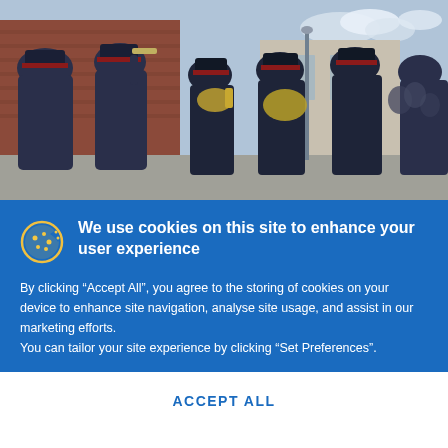[Figure (photo): Outdoor photo of a brass band in dark blue uniforms and red-banded caps playing instruments on a street, with brick buildings in the background.]
We use cookies on this site to enhance your user experience
By clicking “Accept All”, you agree to the storing of cookies on your device to enhance site navigation, analyse site usage, and assist in our marketing efforts.
You can tailor your site experience by clicking “Set Preferences”.
ACCEPT ALL